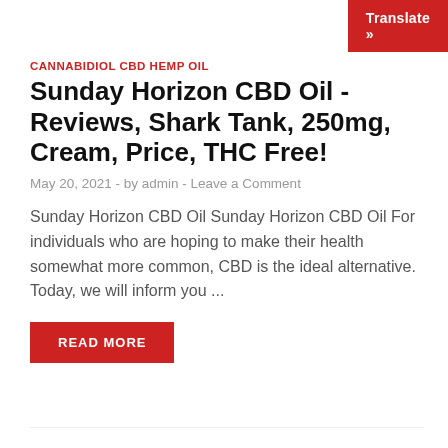Translate »
CANNABIDIOL CBD HEMP OIL
Sunday Horizon CBD Oil -Reviews, Shark Tank, 250mg, Cream, Price, THC Free!
May 20, 2021  -  by admin  -  Leave a Comment
Sunday Horizon CBD Oil Sunday Horizon CBD Oil For individuals who are hoping to make their health somewhat more common, CBD is the ideal alternative. Today, we will inform you ...
READ MORE
CBD GUMMIES
LUX CBD Gummies -Reviews, Shark Tank, Price, To Quit, Stop Smoking, Tinnitus!
May 19, 2021  -  by admin  -  Leave a Comment